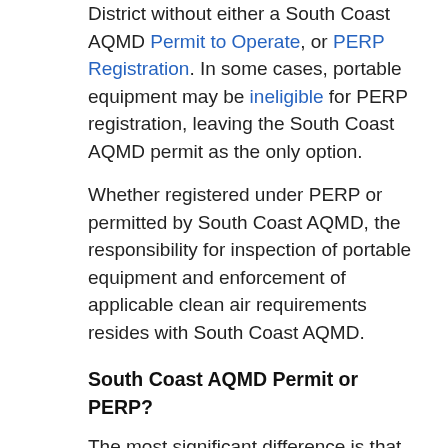District without either a South Coast AQMD Permit to Operate, or PERP Registration. In some cases, portable equipment may be ineligible for PERP registration, leaving the South Coast AQMD permit as the only option.
Whether registered under PERP or permitted by South Coast AQMD, the responsibility for inspection of portable equipment and enforcement of applicable clean air requirements resides with South Coast AQMD.
South Coast AQMD Permit or PERP?
The most significant difference is that PERP allows the freedom to operate portable engines and portable equipment units anywhere in the state without the need to obtain separate permits from each air quality district. Highlights of each